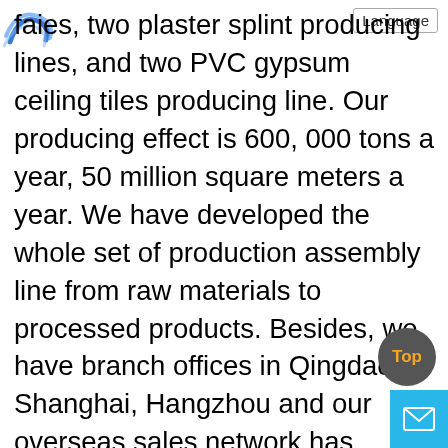factories, two plaster splint producing lines, and two PVC gypsum ceiling tiles producing line. Our producing effect is 600, 000 tons a year, 50 million square meters a year. We have developed the whole set of production assembly line from raw materials to processed products. Besides, we have branch offices in Qingdao, Shanghai, Hangzhou and our overseas sales network has entered into the market of Europe, America, Middle East, Southeast Asia, Angora, Mozambique, South Africa, Korea, etc.